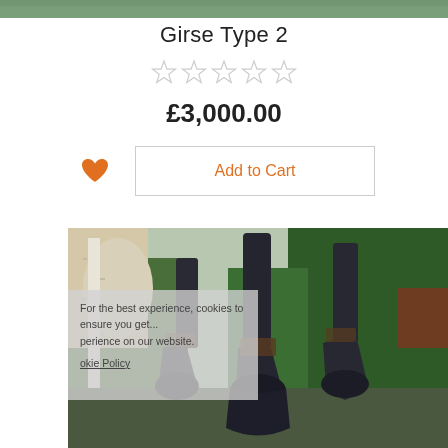[Figure (photo): Top strip of a product photo — green foliage background]
Girse Type 2
☆ ☆ ☆ ☆ ☆ (star rating row, all empty)
£3,000.00
[Figure (other): Heart (wishlist) button in orange and Add to Cart button with orange text]
[Figure (photo): Outdoor chiminea/fire pit product photo showing three dark metal chimineas of different sizes in a garden setting with trees and shrubs. Cookie consent overlay text partially visible on left side.]